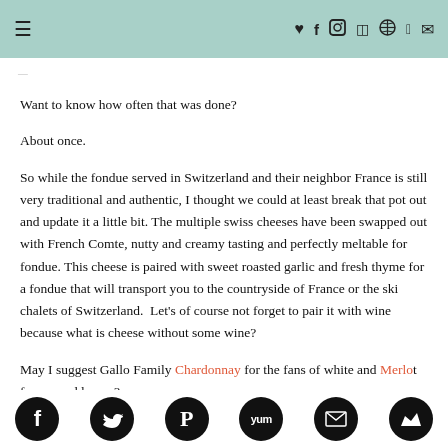≡   ♥ f ⬛ RSS ℗ 𝕏 ✉
Want to know how often that was done?
About once.
So while the fondue served in Switzerland and their neighbor France is still very traditional and authentic, I thought we could at least break that pot out and update it a little bit. The multiple swiss cheeses have been swapped out with French Comte, nutty and creamy tasting and perfectly meltable for fondue. This cheese is paired with sweet roasted garlic and fresh thyme for a fondue that will transport you to the countryside of France or the ski chalets of Switzerland.  Let's of course not forget to pair it with wine because what is cheese without some wine?
May I suggest Gallo Family Chardonnay for the fans of white and Merlot for our red lovers?
f  Twitter  Pinterest  Yum  Mail  Crown